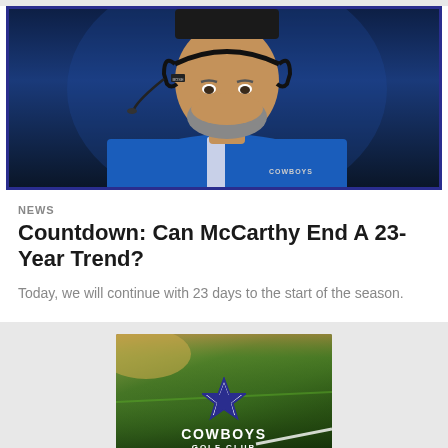[Figure (photo): A Dallas Cowboys coach wearing a blue Cowboys jacket and headset, photographed from shoulders up against a dark background. He has a gray beard and is looking downward.]
NEWS
Countdown: Can McCarthy End A 23-Year Trend?
Today, we will continue with 23 days to the start of the season.
[Figure (photo): Advertisement for Cowboys Golf Club showing a golf course green with the Dallas Cowboys star logo and text reading COWBOYS GOLF CLUB.]
[Figure (other): Social sharing icons row: Facebook, Twitter, email, and link icons in circular outlines.]